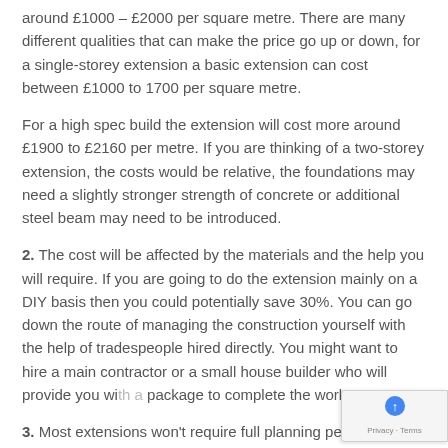around £1000 – £2000 per square metre. There are many different qualities that can make the price go up or down, for a single-storey extension a basic extension can cost between £1000 to 1700 per square metre.
For a high spec build the extension will cost more around £1900 to £2160 per metre. If you are thinking of a two-storey extension, the costs would be relative, the foundations may need a slightly stronger strength of concrete or additional steel beam may need to be introduced.
2. The cost will be affected by the materials and the help you will require. If you are going to do the extension mainly on a DIY basis then you could potentially save 30%. You can go down the route of managing the construction yourself with the help of tradespeople hired directly. You might want to hire a main contractor or a small house builder who will provide you with a package to complete the work.
3. Most extensions won't require full planning permission but they